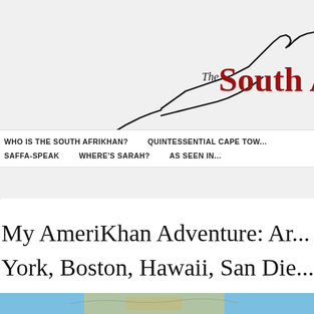[Figure (logo): The South Afrikhan blog logo — a black silhouette outline of a mountain or coastline with 'The South A' text in dark red bold serif font]
WHO IS THE SOUTH AFRIKHAN? | QUINTESSENTIAL CAPE TOW... | SAFFA-SPEAK | WHERE'S SARAH? | AS SEEN IN...
My AmeriKhan Adventure: Ar... York, Boston, Hawaii, San Die...
[Figure (map): Partial map image visible at the bottom of the page]